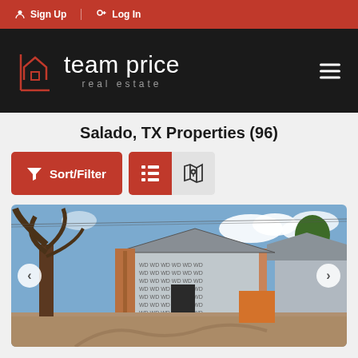Sign Up | Log In
[Figure (logo): Team Price Real Estate logo with house icon on black background, hamburger menu icon on right]
Salado, TX Properties (96)
Sort/Filter [list view] [map view]
[Figure (photo): Construction photo of a house being built with wood framing, house wrap, trees, and dirt ground under blue sky with clouds]
$599,900